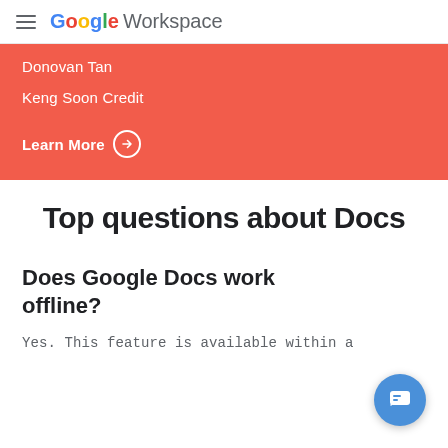Google Workspace
Donovan Tan
Keng Soon Credit
Learn More
Top questions about Docs
Does Google Docs work offline?
Yes. This feature is available within a